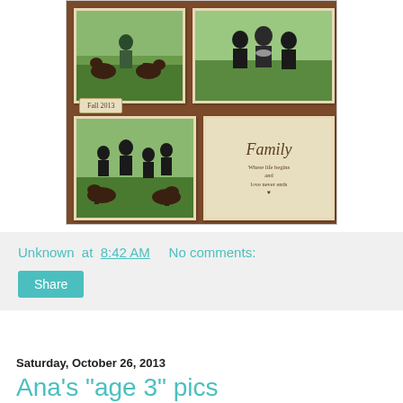[Figure (photo): Family photo collage with brown background. Contains multiple framed photos: top-left shows a person with dogs in a field, top-right shows a family group portrait in fall colors, bottom-left shows a family group with dogs outdoors. A tag label reads 'Fall 2013'. Bottom-right contains a decorative text panel reading 'Family Where life begins and love never ends' with a heart symbol.]
Unknown at 8:42 AM    No comments:
Share
Saturday, October 26, 2013
Ana's "age 3" pics